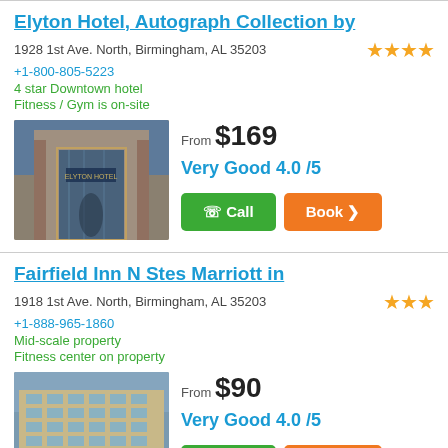Elyton Hotel, Autograph Collection by
1928 1st Ave. North, Birmingham, AL 35203
+1-800-805-5223
4 star Downtown hotel
Fitness / Gym is on-site
[Figure (photo): Hotel entrance with glass doors and building facade]
From $169
Very Good 4.0 /5
Fairfield Inn N Stes Marriott in
1918 1st Ave. North, Birmingham, AL 35203
+1-888-965-1860
Mid-scale property
Fitness center on property
[Figure (photo): Fairfield Inn multi-story hotel exterior]
From $90
Very Good 4.0 /5